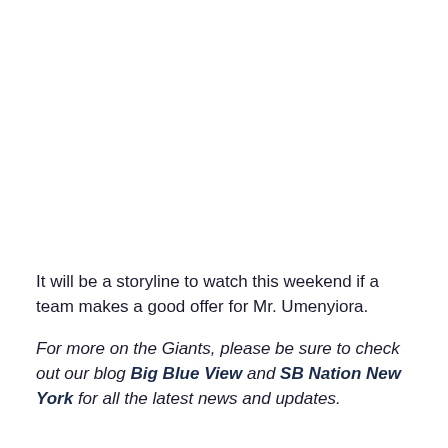It will be a storyline to watch this weekend if a team makes a good offer for Mr. Umenyiora.
For more on the Giants, please be sure to check out our blog Big Blue View and SB Nation New York for all the latest news and updates.